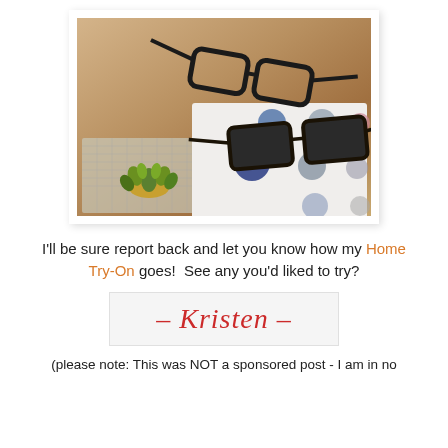[Figure (photo): Photo of two pairs of eyeglasses (one clear lens, one sunglasses) resting on a colorful dot-pattern book and textured mat, with a small succulent plant, on a wooden surface.]
I'll be sure report back and let you know how my Home Try-On goes!  See any you'd liked to try?
– Kristen –
(please note: This was NOT a sponsored post - I am in no